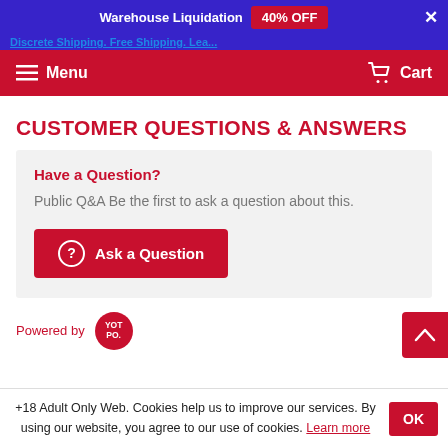Warehouse Liquidation 40% OFF
Discrete Shipping. Free Shipping. Lea...
Menu   Cart
CUSTOMER QUESTIONS & ANSWERS
Have a Question?
Public Q&A Be the first to ask a question about this.
Ask a Question
Powered by YOT PO.
+18 Adult Only Web. Cookies help us to improve our services. By using our website, you agree to our use of cookies. Learn more